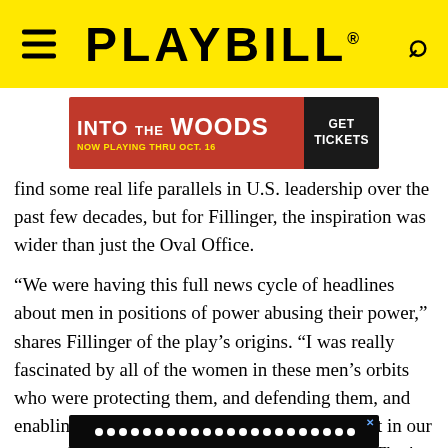PLAYBILL
[Figure (screenshot): Into The Woods advertisement banner: red background with white text 'INTO THE WOODS', yellow text 'NOW PLAYING THRU OCT. 16', and dark button 'GET TICKETS']
find some real life parallels in U.S. leadership over the past few decades, but for Fillinger, the inspiration was wider than just the Oval Office.
“We were having this full news cycle of headlines about men in positions of power abusing their power,” shares Fillinger of the play’s origins. “I was really fascinated by all of the women in these men’s orbits who were protecting them, and defending them, and enabling them; and in the ways we are complicit in our own subjugation and the subjugation of others. That's really where I started thematically.”
[Figure (screenshot): Bottom advertisement bar with dark background and dots/lights pattern]